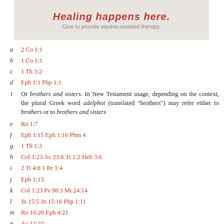[Figure (other): Banner image with text 'Healing happens here.' and subtext 'Give to provide equine-assisted therapy.']
a  2 Co 1:1
b  1 Co 1:1
c  1 Th 3:2
d  Eph 1:1 Php 1:1
1  Or brothers and sisters. In New Testament usage, depending on the context, the plural Greek word adelphoi (translated “brothers”) may refer either to brothers or to brothers and sisters
e  Ro 1:7
f  Eph 1:15 Eph 1:16 Phm 4
g  1 Th 1:3
h  Col 1:23 Ac 23:6 Tt 1:2 Heb 3:6
i  2 Ti 4:8 1 Pe 1:4
j  Eph 1:13
k  Col 1:23 Ps 98:3 Mt 24:14
l  Jn 15:5 Jn 15:16 Php 1:11
m  Ro 16:26 Eph 4:21
n  Ac 11:23
o  Col 4:12 Phm 23